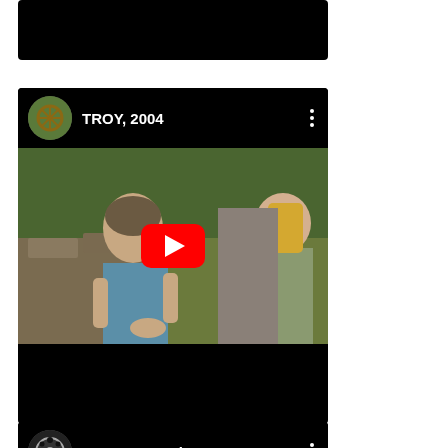[Figure (screenshot): Top portion of a YouTube video card, black background, partially visible]
[Figure (screenshot): YouTube video card for 'TROY, 2004' with thumbnail showing a scene from the movie of a woman in a blue dress, with a red YouTube play button overlay, channel avatar of a wagon wheel, and three-dot menu icon]
[Figure (screenshot): YouTube video card header for 'Troy Preparation...' with a film reel avatar and three-dot menu icon, partially visible]